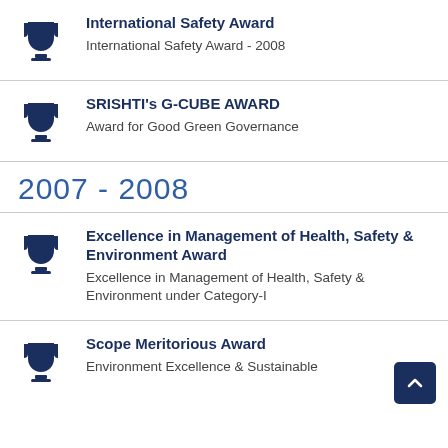International Safety Award
International Safety Award - 2008
SRISHTI's G-CUBE AWARD
Award for Good Green Governance
2007 - 2008
Excellence in Management of Health, Safety & Environment Award
Excellence in Management of Health, Safety & Environment under Category-I
Scope Meritorious Award
Environment Excellence & Sustainable